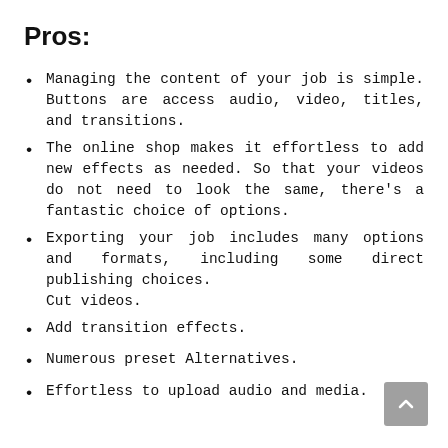Pros:
Managing the content of your job is simple. Buttons are access audio, video, titles, and transitions.
The online shop makes it effortless to add new effects as needed. So that your videos do not need to look the same, there’s a fantastic choice of options.
Exporting your job includes many options and formats, including some direct publishing choices.
Cut videos.
Add transition effects.
Numerous preset Alternatives.
Effortless to upload audio and media.